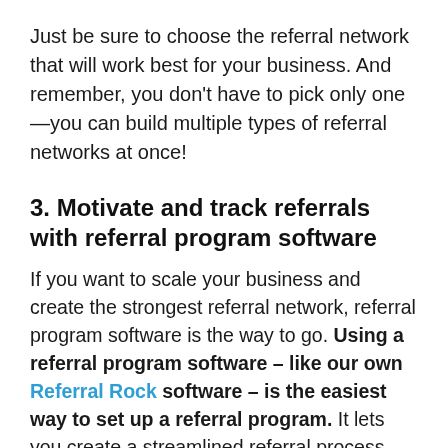Just be sure to choose the referral network that will work best for your business. And remember, you don't have to pick only one—you can build multiple types of referral networks at once!
3. Motivate and track referrals with referral program software
If you want to scale your business and create the strongest referral network, referral program software is the way to go. Using a referral program software – like our own Referral Rock software – is the easiest way to set up a referral program. It lets you create a streamlined referral process with a centralized page or